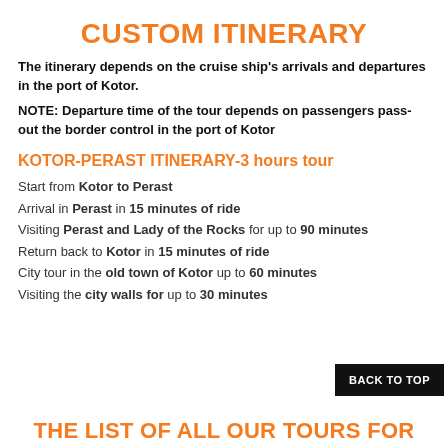CUSTOM ITINERARY
The itinerary depends on the cruise ship's arrivals and departures in the port of Kotor.
NOTE: Departure time of the tour depends on passengers pass-out the border control in the port of Kotor
KOTOR-PERAST ITINERARY-3 hours tour
Start from Kotor to Perast
Arrival in Perast in 15 minutes of ride
Visiting Perast and Lady of the Rocks for up to 90 minutes
Return back to Kotor in 15 minutes of ride
City tour in the old town of Kotor up to 60 minutes
Visiting the city walls for up to 30 minutes
THE LIST OF ALL OUR TOURS FOR